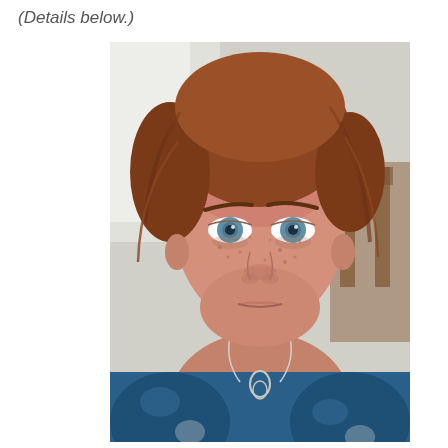(Details below.)
[Figure (photo): Close-up portrait photo of a middle-aged woman with auburn/reddish-brown hair pulled back loosely, blue eyes, freckles, wearing a blue patterned top and a silver chain necklace with a small pendant. She is looking directly at the camera with a neutral expression. Background shows a white wall and a wooden chair.]